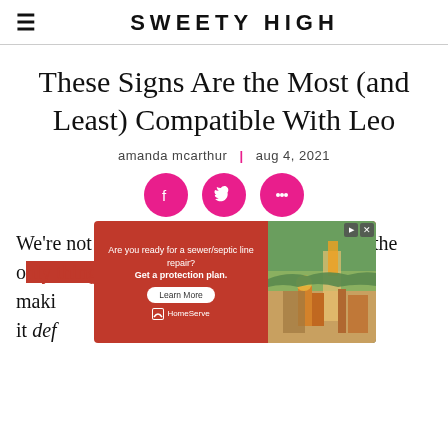SWEETY HIGH
These Signs Are the Most (and Least) Compatible With Leo
amanda mcarthur | aug 4, 2021
[Figure (infographic): Social share icons: Facebook, Twitter, and more (pink circles with white icons)]
We're not saying that innate compatibility is the only thing you need to make a relationship work, but it def...
[Figure (other): Advertisement overlay: HomeServe sewer/septic line repair protection plan ad with red background and construction photo]